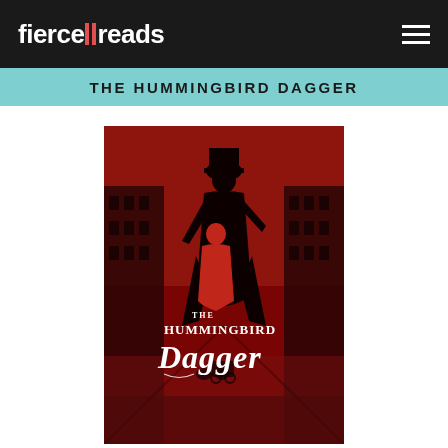fiercereads
THE HUMMINGBIRD DAGGER
[Figure (illustration): Book cover of 'The Hummingbird Dagger' featuring a dark red atmospheric scene with two silhouetted figures — a tall man in a top hat and long coat holding a smaller woman figure — on a foggy Victorian street with buildings on both sides and a horse-drawn carriage in the background. White decorative text reads 'THE HUMMINGBIRD DAGGER' overlaid on the scene.]